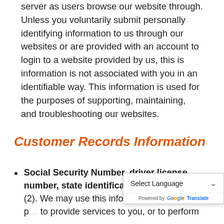server as users browse our website through. Unless you voluntarily submit personally identifying information to us through our websites or are provided with an account to login to a website provided by us, this is information is not associated with you in an identifiable way. This information is used for the purposes of supporting, maintaining, and troubleshooting our websites.
Customer Records Information
Social Security Number, driver license number, state identification card number(1)(2). We may use this information for various p... to provide services to you, or to perform...